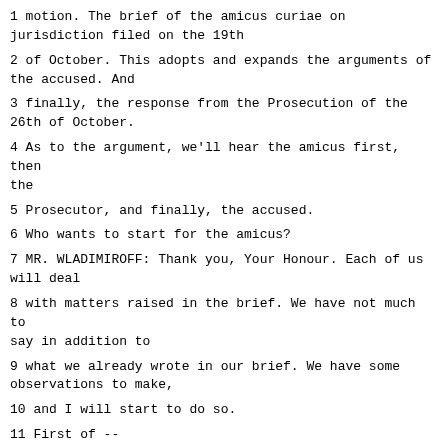1 motion. The brief of the amicus curiae on jurisdiction filed on the 19th
2 of October. This adopts and expands the arguments of the accused. And
3 finally, the response from the Prosecution of the 26th of October.
4 As to the argument, we'll hear the amicus first, then the
5 Prosecutor, and finally, the accused.
6 Who wants to start for the amicus?
7 MR. WLADIMIROFF: Thank you, Your Honour. Each of us will deal
8 with matters raised in the brief. We have not much to say in addition to
9 what we already wrote in our brief. We have some observations to make,
10 and I will start to do so.
11 First of --
12 JUDGE MAY: I should say, just to make it clear, that we've had